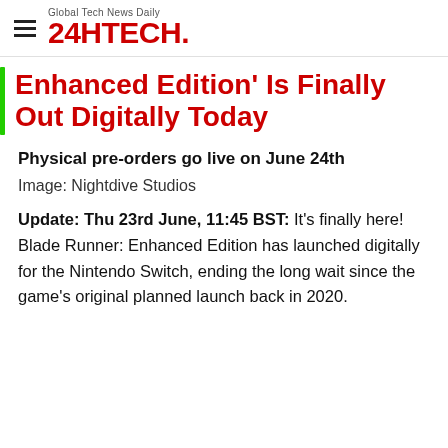Global Tech News Daily 24HTECH.
Enhanced Edition' Is Finally Out Digitally Today
Physical pre-orders go live on June 24th
Image: Nightdive Studios
Update: Thu 23rd June, 11:45 BST: It's finally here! Blade Runner: Enhanced Edition has launched digitally for the Nintendo Switch, ending the long wait since the game's original planned launch back in 2020.